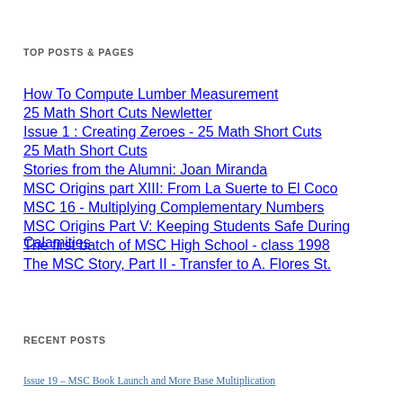TOP POSTS & PAGES
How To Compute Lumber Measurement
25 Math Short Cuts Newletter
Issue 1 : Creating Zeroes - 25 Math Short Cuts
25 Math Short Cuts
Stories from the Alumni: Joan Miranda
MSC Origins part XIII: From La Suerte to El Coco
MSC 16 - Multiplying Complementary Numbers
MSC Origins Part V: Keeping Students Safe During Calamities
The first batch of MSC High School - class 1998
The MSC Story, Part II - Transfer to A. Flores St.
RECENT POSTS
Issue 19 – MSC Book Launch and More Base Multiplication